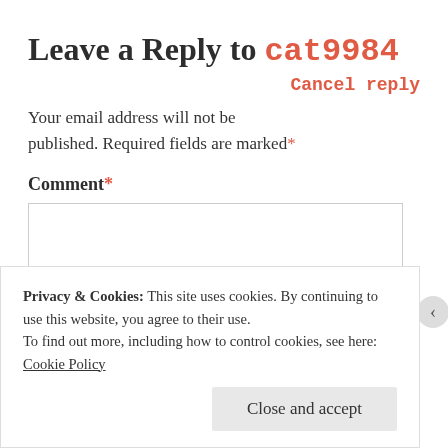Leave a Reply to cat9984
Cancel reply
Your email address will not be published. Required fields are marked*
Comment*
[Figure (screenshot): Empty comment text area input box]
Privacy & Cookies: This site uses cookies. By continuing to use this website, you agree to their use.
To find out more, including how to control cookies, see here:
Cookie Policy
Close and accept